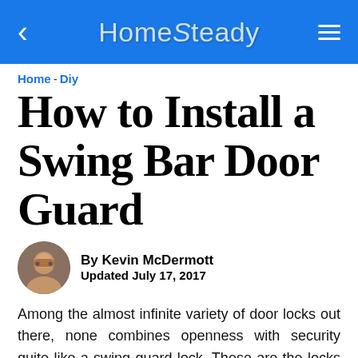HomeSteady
Home - Diy
How to Install a Swing Bar Door Guard
By Kevin McDermott
Updated July 17, 2017
Among the almost infinite variety of door locks out there, none combines openness with security quite like a swing guard lock. These are the locks that have a little metal arm hanging on the door frame